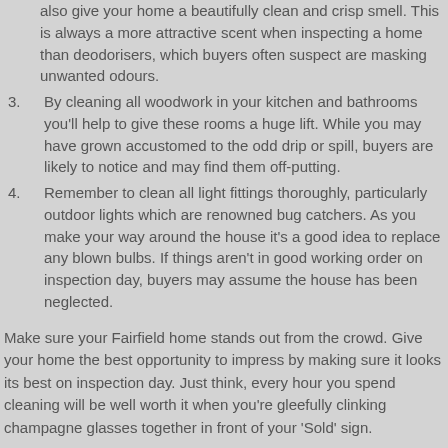(continued) also give your home a beautifully clean and crisp smell. This is always a more attractive scent when inspecting a home than deodorisers, which buyers often suspect are masking unwanted odours.
3. By cleaning all woodwork in your kitchen and bathrooms you'll help to give these rooms a huge lift. While you may have grown accustomed to the odd drip or spill, buyers are likely to notice and may find them off-putting.
4. Remember to clean all light fittings thoroughly, particularly outdoor lights which are renowned bug catchers. As you make your way around the house it's a good idea to replace any blown bulbs. If things aren't in good working order on inspection day, buyers may assume the house has been neglected.
Make sure your Fairfield home stands out from the crowd. Give your home the best opportunity to impress by making sure it looks its best on inspection day. Just think, every hour you spend cleaning will be well worth it when you're gleefully clinking champagne glasses together in front of your 'Sold' sign.